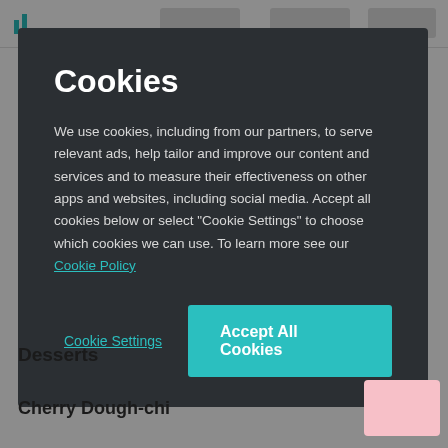[Figure (screenshot): Website background with header containing a teal logo icon and navigation placeholder rectangles]
Cookies
We use cookies, including from our partners, to serve relevant ads, help tailor and improve our content and services and to measure their effectiveness on other apps and websites, including social media. Accept all cookies below or select “Cookie Settings” to choose which cookies we can use. To learn more see our Cookie Policy
Cookie Settings
Accept All Cookies
Desserts
Cherry Dough-chi